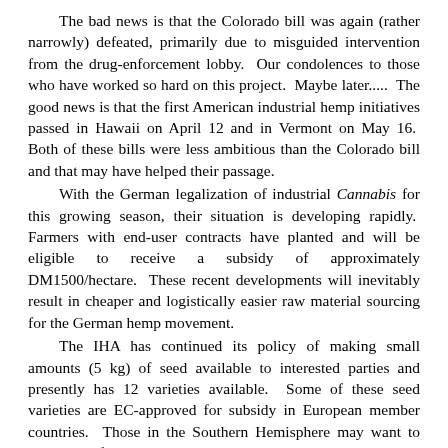The bad news is that the Colorado bill was again (rather narrowly) defeated, primarily due to misguided intervention from the drug-enforcement lobby.  Our condolences to those who have worked so hard on this project.  Maybe later.....  The good news is that the first American industrial hemp initiatives passed in Hawaii on April 12 and in Vermont on May 16.  Both of these bills were less ambitious than the Colorado bill and that may have helped their passage.
    With the German legalization of industrial Cannabis for this growing season, their situation is developing rapidly.  Farmers with end-user contracts have planted and will be eligible to receive a subsidy of approximately DM1500/hectare.  These recent developments will inevitably result in cheaper and logistically easier raw material sourcing for the German hemp movement.
    The IHA has continued its policy of making small amounts (5 kg) of seed available to interested parties and presently has 12 varieties available.  Some of these seed varieties are EC-approved for subsidy in European member countries.  Those in the Southern Hemisphere may want to order soon for the September planting season.   However, they should be aware that these varieties were developed for latitudes greater than 40 degrees and will flower prematurely in tropical environments.
    It is not too early for a reminder that several hemp events are being held for this Autumn.  Preliminary announcements have even been made for conferences scheduled in the Spring of ‘97, for